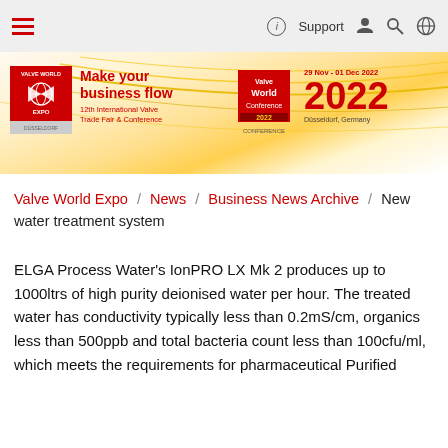Valve World Expo – navigation bar with Support, user, search, and globe icons
[Figure (infographic): Valve World Expo 2022 banner with logo, 'Make your business flow – 12th International Valve Trade Fair & Conference', Valve World 2022 Conference logo, dates 29 Nov – 01 Dec 2022, Düsseldorf, Germany, year 2022 in large red text]
Valve World Expo / News / Business News Archive / New water treatment system
ELGA Process Water's IonPRO LX Mk 2 produces up to 1000ltrs of high purity deionised water per hour. The treated water has conductivity typically less than 0.2mS/cm, organics less than 500ppb and total bacteria count less than 100cfu/ml, which meets the requirements for pharmaceutical Purified